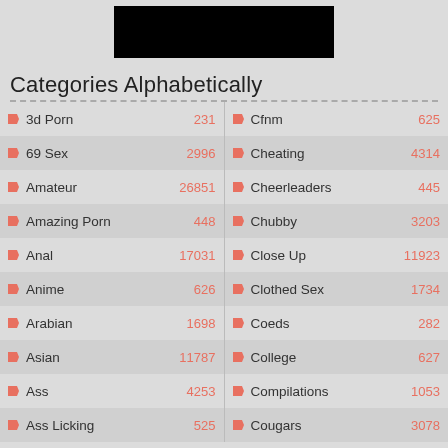[Figure (other): Black redacted/censored bar at top center]
Categories Alphabetically
| Category | Count | Category | Count |
| --- | --- | --- | --- |
| 3d Porn | 231 | Cfnm | 625 |
| 69 Sex | 2996 | Cheating | 4314 |
| Amateur | 26851 | Cheerleaders | 445 |
| Amazing Porn | 448 | Chubby | 3203 |
| Anal | 17031 | Close Up | 11923 |
| Anime | 626 | Clothed Sex | 1734 |
| Arabian | 1698 | Coeds | 282 |
| Asian | 11787 | College | 627 |
| Ass | 4253 | Compilations | 1053 |
| Ass Licking | 525 | Cougars | 3078 |